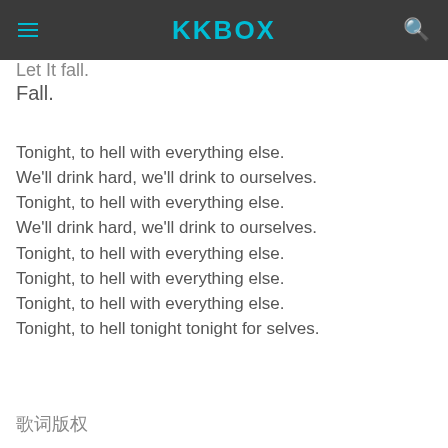KKBOX
Let It fall.
Fall.
Tonight, to hell with everything else.
We'll drink hard, we'll drink to ourselves.
Tonight, to hell with everything else.
We'll drink hard, we'll drink to ourselves.
Tonight, to hell with everything else.
Tonight, to hell with everything else.
Tonight, to hell with everything else.
Tonight, to hell tonight tonight for selves.
歌詞版權